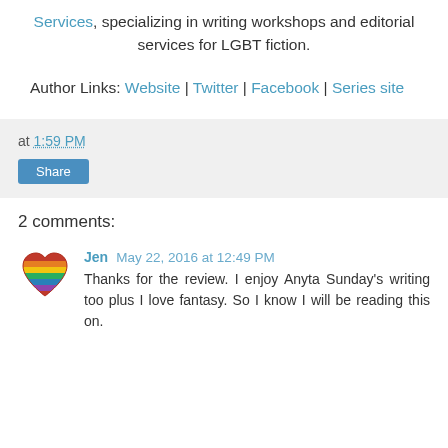Services, specializing in writing workshops and editorial services for LGBT fiction.
Author Links: Website | Twitter | Facebook | Series site
at 1:59 PM
Share
2 comments:
Jen May 22, 2016 at 12:49 PM
Thanks for the review. I enjoy Anyta Sunday's writing too plus I love fantasy. So I know I will be reading this on.